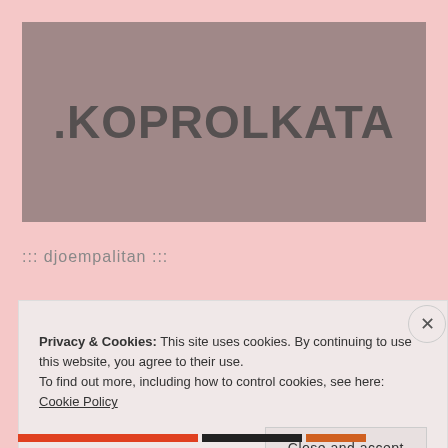[Figure (logo): Website logo banner with mauve/rose background and text '.KOPROLKATA' in dark gray bold font]
.KOPROLKATA
::: djoempalitan :::
Privacy & Cookies: This site uses cookies. By continuing to use this website, you agree to their use.
To find out more, including how to control cookies, see here: Cookie Policy
Close and accept